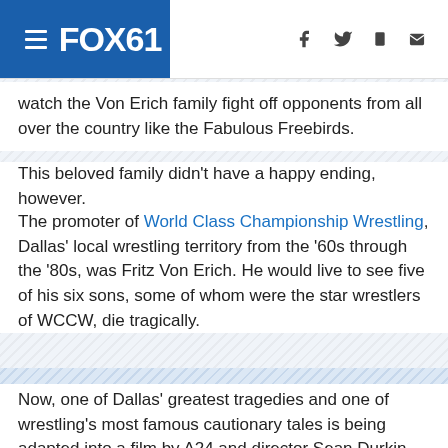FOX61
watch the Von Erich family fight off opponents from all over the country like the Fabulous Freebirds.
This beloved family didn't have a happy ending, however.
The promoter of World Class Championship Wrestling, Dallas' local wrestling territory from the '60s through the '80s, was Fritz Von Erich. He would live to see five of his six sons, some of whom were the star wrestlers of WCCW, die tragically.
Now, one of Dallas' greatest tragedies and one of wrestling's most famous cautionary tales is being adapted into a film by A24 and director Sean Durkin. And as Deadline broke Wednesday, Zac Efron will be starring in the